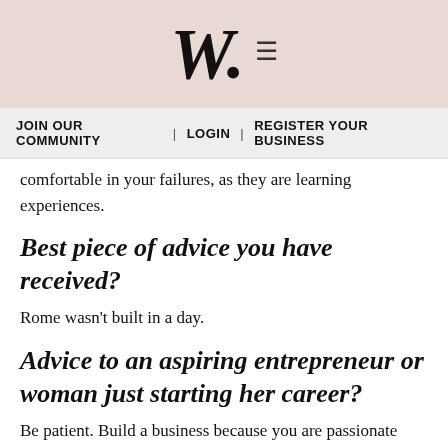W. ≡
JOIN OUR COMMUNITY | LOGIN | REGISTER YOUR BUSINESS
comfortable in your failures, as they are learning experiences.
Best piece of advice you have received?
Rome wasn't built in a day.
Advice to an aspiring entrepreneur or woman just starting her career?
Be patient. Build a business because you are passionate about the solution it brings to the customers that you care about.